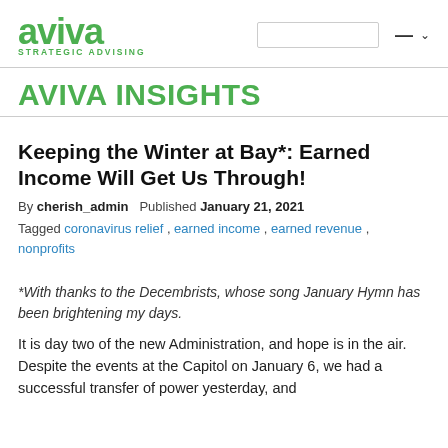aviva STRATEGIC ADVISING
AVIVA INSIGHTS
Keeping the Winter at Bay*: Earned Income Will Get Us Through!
By cherish_admin   Published January 21, 2021
Tagged coronavirus relief , earned income , earned revenue , nonprofits
*With thanks to the Decembrists, whose song January Hymn has been brightening my days.
It is day two of the new Administration, and hope is in the air. Despite the events at the Capitol on January 6, we had a successful transfer of power yesterday, and